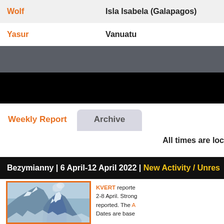| Volcano | Location |
| --- | --- |
| Wolf | Isla Isabela (Galapagos) |
| Yasur | Vanuatu |
Weekly Report
Archive
All times are loc
Bezymianny | 6 April-12 April 2022 | New Activity / Unres
[Figure (photo): Aerial or ground-level photograph of Bezymianny volcano with snow-covered peaks and steam/ash plume rising from the summit, blue sky background]
KVERT reported 2-8 April. Strong reported. The A Dates are base

Source: Kamch